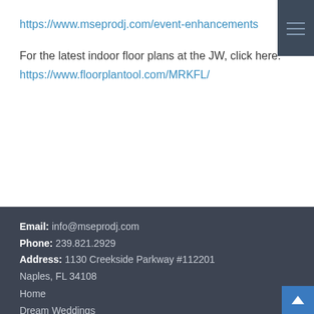https://www.mseprodj.com/event-enhancements
For the latest indoor floor plans at the JW, click here:
https://www.floorplantool.com/MRKFL/
Email: info@mseprodj.com
Phone: 239.821.2929
Address: 1130 Creekside Parkway #112201
Naples, FL 34108
Home
Dream Weddings
Social | Group Events
Event Enhancements